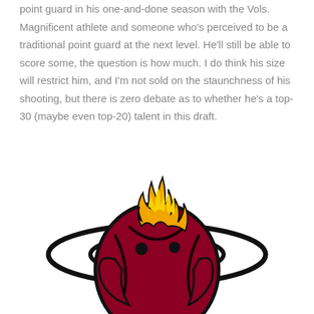point guard in his one-and-done season with the Vols. Magnificent athlete and someone who's perceived to be a traditional point guard at the next level. He'll still be able to score some, the question is how much. I do think his size will restrict him, and I'm not sold on the staunchness of his shooting, but there is zero debate as to whether he's a top-30 (maybe even top-20) talent in this draft.
[Figure (logo): Miami Heat NBA team logo — a flaming basketball with two orbital rings]